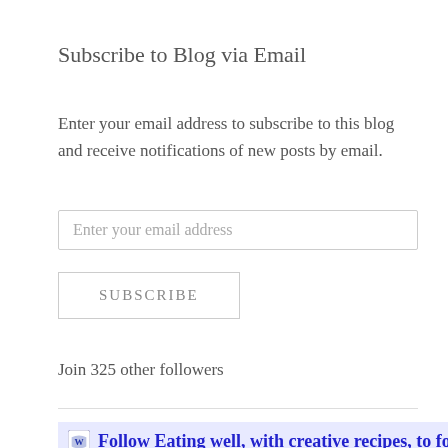Subscribe to Blog via Email
Enter your email address to subscribe to this blog and receive notifications of new posts by email.
Enter your email address
SUBSCRIBE
Join 325 other followers
Follow Eating well, with creative recipes, to follow